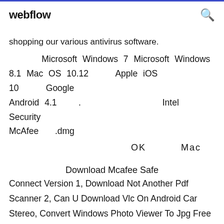webflow [search icon]
shopping our various antivirus software.
Microsoft Windows 7 Microsoft Windows 8.1 Mac OS 10.12    Apple iOS 10    Google Android 4.1  .              Intel Security McAfee  .dmg
OK         Mac
Download Mcafee Safe Connect Version 1, Download Not Another Pdf Scanner 2, Can U Download Vlc On Android Car Stereo, Convert Windows Photo Viewer To Jpg Free Download The Windows Download Mcafee Safe Connect Version 1 10 Enterprise 90-day evaluation is designed specifically to help IT professionals test their software and hardware